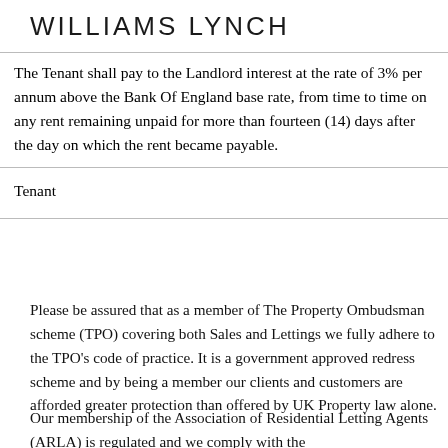WILLIAMS LYNCH
| The Tenant shall pay to the Landlord interest at the rate of 3% per annum above the Bank Of England base rate, from time to time on any rent remaining unpaid for more than fourteen (14) days after the day on which the rent became payable. |
| Tenant |
Please be assured that as a member of The Property Ombudsman scheme (TPO) covering both Sales and Lettings we fully adhere to the TPO's code of practice. It is a government approved redress scheme and by being a member our clients and customers are afforded greater protection than offered by UK Property law alone.
Our membership of the Association of Residential Letting Agents (ARLA) is regulated and we comply with the